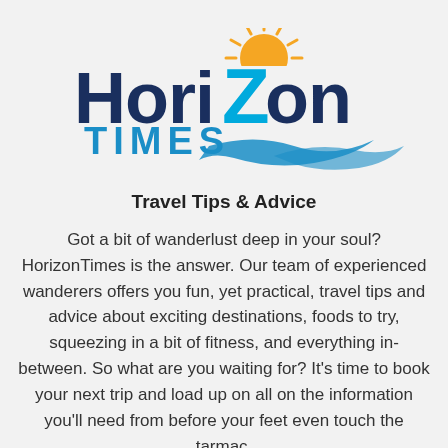[Figure (logo): Horizon Times logo: stylized text 'HoriZon' in dark blue with a large Z, orange sun with rays above the Z, blue wave swoosh below, and 'TIMES' in blue block letters beneath]
Travel Tips & Advice
Got a bit of wanderlust deep in your soul? HorizonTimes is the answer. Our team of experienced wanderers offers you fun, yet practical, travel tips and advice about exciting destinations, foods to try, squeezing in a bit of fitness, and everything in-between. So what are you waiting for? It’s time to book your next trip and load up on all on the information you’ll need from before your feet even touch the tarmac.